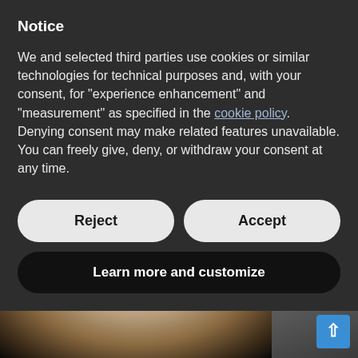Notice
We and selected third parties use cookies or similar technologies for technical purposes and, with your consent, for “experience enhancement” and “measurement” as specified in the cookie policy. Denying consent may make related features unavailable.
You can freely give, deny, or withdraw your consent at any time.
Reject
Accept
Learn more and customize
[Figure (photo): Close-up photograph of a tooth (molar) showing occlusal surface with brownish discoloration, alongside what appears to be a metal dental instrument or surface on the right side.]